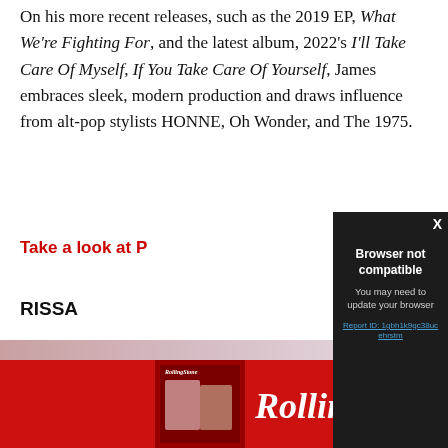On his more recent releases, such as the 2019 EP, What We're Fighting For, and the latest album, 2022's I'll Take Care Of Myself, If You Take Care Of Yourself, James embraces sleek, modern production and draws influence from alt-pop stylists HONNE, Oh Wonder, and The 1975.
Take a look at P…
RISSA
[Figure (photo): Partial photo strip, cropped portrait photo]
[Figure (screenshot): Browser not compatible modal dialog over dark overlay. Title: Browser not compatible. Subtitle: You may need to update your browser. Link: Report ID: 1gbh1k9gc38ucehrstm. X close button top right.]
[Figure (logo): Rolling Stone advertisement banner in red with white Rolling Stone italic logo and magazine thumbnail]